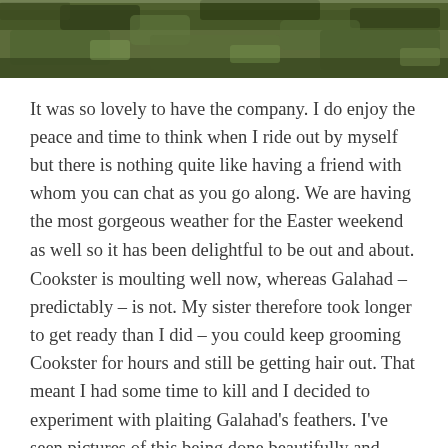[Figure (photo): Photograph of outdoor scenery, appearing to show a hillside or ground covered with green and brown vegetation, partially cropped at the top of the page.]
It was so lovely to have the company. I do enjoy the peace and time to think when I ride out by myself but there is nothing quite like having a friend with whom you can chat as you go along. We are having the most gorgeous weather for the Easter weekend as well so it has been delightful to be out and about.
Cookster is moulting well now, whereas Galahad – predictably – is not. My sister therefore took longer to get ready than I did – you could keep grooming Cookster for hours and still be getting hair out. That meant I had some time to kill and I decided to experiment with plaiting Galahad's feathers. I've seen pictures of this being done beautifully and although Galahad...